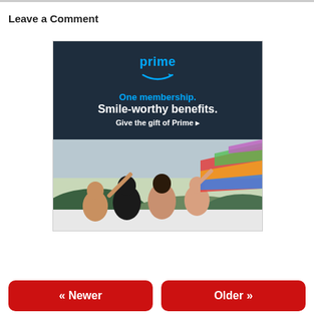Leave a Comment
[Figure (illustration): Amazon Prime advertisement banner. Dark navy blue top half with 'prime' text and smile arrow logo in blue, 'One membership.' in blue, 'Smile-worthy benefits.' in white bold, 'Give the gift of Prime ▸' in white. Lower half shows a photo of a group of young people smiling and waving a colorful flag out of a car sunroof, with trees and hills in the background.]
« Newer
Older »